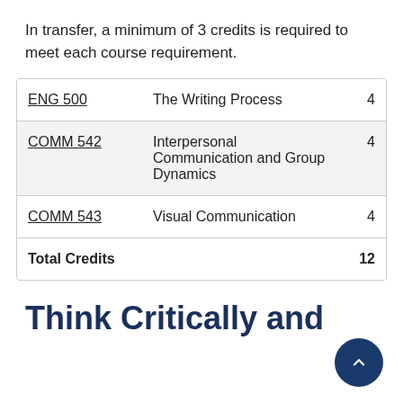In transfer, a minimum of 3 credits is required to meet each course requirement.
| Course | Title | Credits |
| --- | --- | --- |
| ENG 500 | The Writing Process | 4 |
| COMM 542 | Interpersonal Communication and Group Dynamics | 4 |
| COMM 543 | Visual Communication | 4 |
| Total Credits |  | 12 |
Think Critically and Communicate